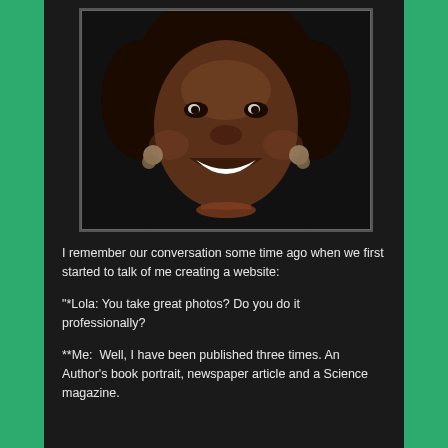[Figure (photo): Portrait photo of a smiling woman with dark skin, wearing earrings and a dark top, against a dark background]
I remember our conversation some time ago when we first started to talk of me creating a website:
"*Lola: You take great photos? Do you do it professionally?
**Me:  Well, I have been published three times. An Author's book portrait, newspaper article and a Science magazine.